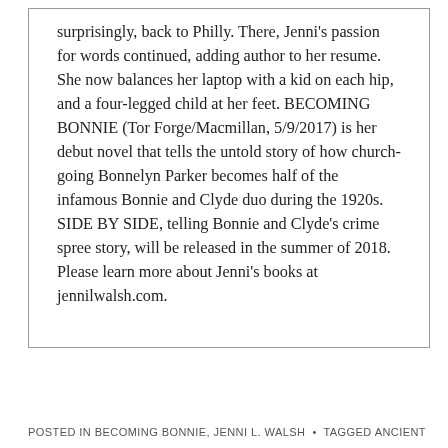surprisingly, back to Philly. There, Jenni's passion for words continued, adding author to her resume. She now balances her laptop with a kid on each hip, and a four-legged child at her feet. BECOMING BONNIE (Tor Forge/Macmillan, 5/9/2017) is her debut novel that tells the untold story of how church-going Bonnelyn Parker becomes half of the infamous Bonnie and Clyde duo during the 1920s. SIDE BY SIDE, telling Bonnie and Clyde's crime spree story, will be released in the summer of 2018. Please learn more about Jenni's books at jennilwalsh.com.
POSTED IN BECOMING BONNIE, JENNI L. WALSH  •  TAGGED ANCIENT